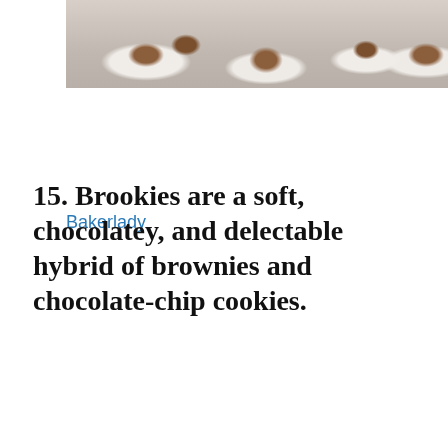[Figure (photo): Photo of cookies or pastries dusted with powdered sugar on a snowy or light-colored surface, partially cropped at top]
Bakerlady
15. Brookies are a soft, chocolatey, and delectable hybrid of brownies and chocolate-chip cookies.
[Figure (photo): Dark, nearly black photo — appears to show a dark wooden surface or kitchen background, very low exposure, with a small lighter element in the bottom-right corner]